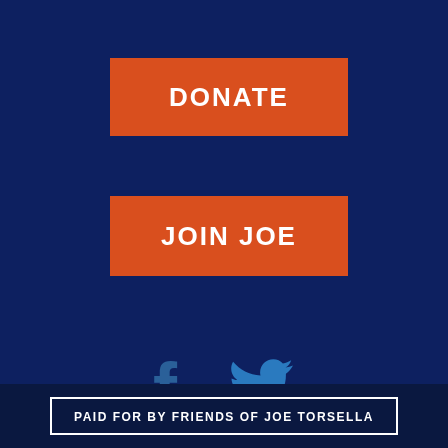DONATE
JOIN JOE
[Figure (other): Facebook and Twitter social media icons in blue on dark navy background]
Home
Meet Joe
Ideas
News
Contact
Join Joe
Donate
PAID FOR BY FRIENDS OF JOE TORSELLA